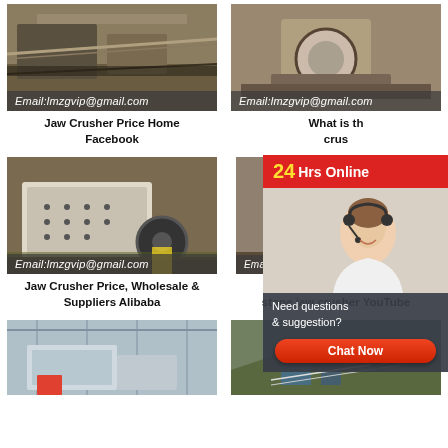[Figure (photo): Mining/crushing equipment at a quarry site with conveyor belts. Email watermark: Email:lmzgvip@gmail.com]
Jaw Crusher Price Home Facebook
[Figure (photo): Cone crusher industrial machinery with red banner '24Hrs Online'. Email watermark: Email:lmzgvip@gmail.com]
What is th crush
[Figure (photo): Impact crusher on factory floor, red/white colored machine. Email watermark: Email:lmzgvip@gmail.com]
Jaw Crusher Price, Wholesale & Suppliers Alibaba
[Figure (photo): Cone crusher at outdoor quarry/mining site. Email watermark: Email:lmzg]
low price mining stone jaw crusher YouTube
[Figure (photo): Large crushing machine in indoor factory/warehouse setting]
[Figure (photo): Outdoor quarry/mining crushing plant on hillside]